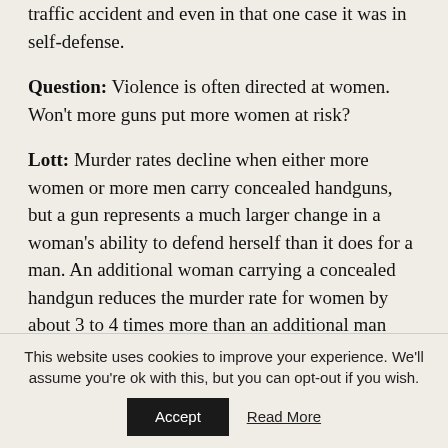traffic accident and even in that one case it was in self-defense.
Question: Violence is often directed at women. Won't more guns put more women at risk?
Lott: Murder rates decline when either more women or more men carry concealed handguns, but a gun represents a much larger change in a woman's ability to defend herself than it does for a man. An additional woman carrying a concealed handgun reduces the murder rate for women by about 3 to 4 times more than an additional man carrying a concealed handgun
This website uses cookies to improve your experience. We'll assume you're ok with this, but you can opt-out if you wish.